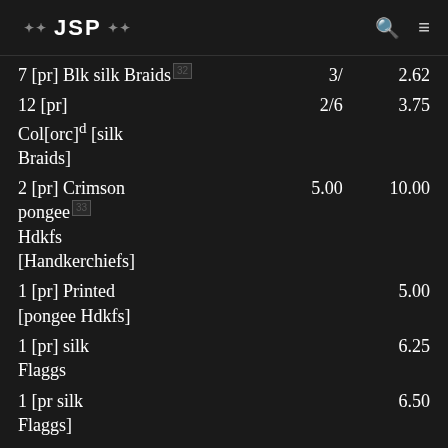❖ JSP ❖  [search] [menu]
| Description | Price | Total |
| --- | --- | --- |
| 7 [pr] Blk silk Braids [32] | 3/ | 2.62 |
| 12 [pr] Col[orc]d [silk Braids] | 2/6 | 3.75 |
| 2 [pr] Crimson pongee [33] Hdkfs [Handkerchiefs] | 5.00 | 10.00 |
| 1 [pr] Printed [pongee Hdkfs] |  | 5.00 |
| 1 [pr] silk Flaggs |  | 6.25 |
| 1 [pr silk Flaggs] |  | 6.50 |
| 1 [pr] Crimson |  | 6.75 |